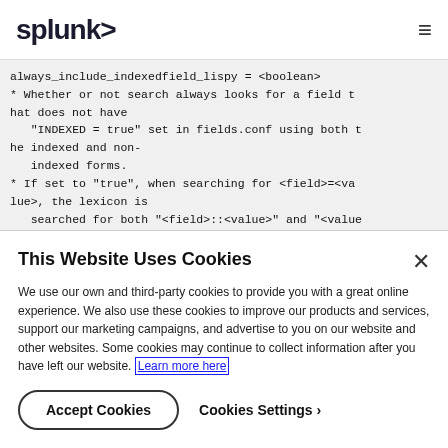splunk> ☰
always_include_indexedfield_lispy = <boolean>
* Whether or not search always looks for a field that does not have
  "INDEXED = true" set in fields.conf using both the indexed and non-
  indexed forms.
* If set to "true", when searching for <field>=<value>, the lexicon is
  searched for both "<field>::<value>" and "<value>".
* If set to "false", when searching for <field>...
This Website Uses Cookies
We use our own and third-party cookies to provide you with a great online experience. We also use these cookies to improve our products and services, support our marketing campaigns, and advertise to you on our website and other websites. Some cookies may continue to collect information after you have left our website. Learn more here
Accept Cookies   Cookies Settings ›